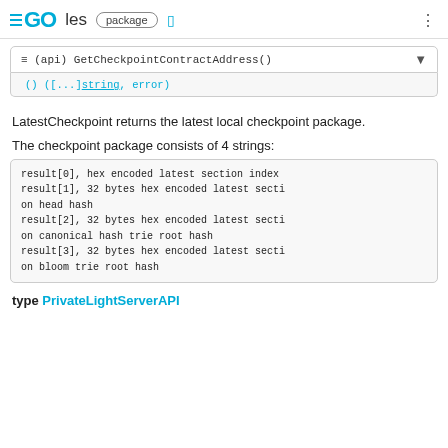GO les package
(api) GetCheckpointContractAddress()
() ([...]string, error)
LatestCheckpoint returns the latest local checkpoint package.
The checkpoint package consists of 4 strings:
result[0], hex encoded latest section index
result[1], 32 bytes hex encoded latest section head hash
result[2], 32 bytes hex encoded latest section canonical hash trie root hash
result[3], 32 bytes hex encoded latest section bloom trie root hash
type PrivateLightServerAPI